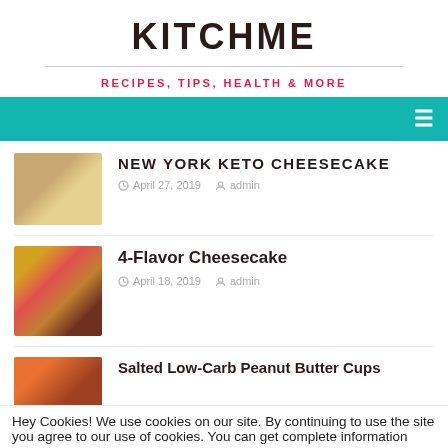KITCHME
RECIPES, TIPS, HEALTH & MORE
NEW YORK KETO CHEESECAKE
April 27, 2019  admin
4-Flavor Cheesecake
April 18, 2019  admin
Salted Low-Carb Peanut Butter Cups
Hey Cookies! We use cookies on our site. By continuing to use the site you agree to our use of cookies. You can get complete information